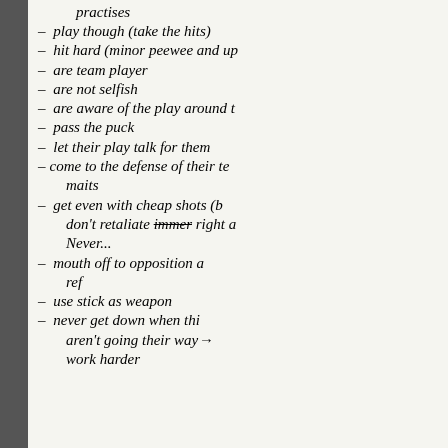practises
- play though (take the hits)
- hit hard (minor peewee and up
- are team player
- are not selfish
- are aware of the play around t
- pass the puck
- let their play talk for them
- come to the defense of their te
maits
- get even with cheap shots (b
don't retaliate [immer strikethrough] right a
Never...
- mouth off to opposition a
ref
- use stick as weapon
- never get down when thi
aren't going their way→
work harder